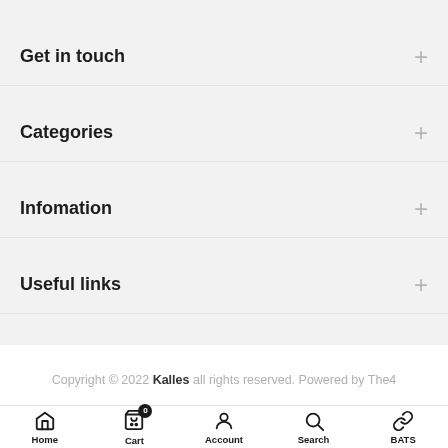Get in touch
Categories
Infomation
Useful links
Copyright © 2022 Kalles all rights reserved. Powered by The4
Home  Cart  Account  Search  BATS